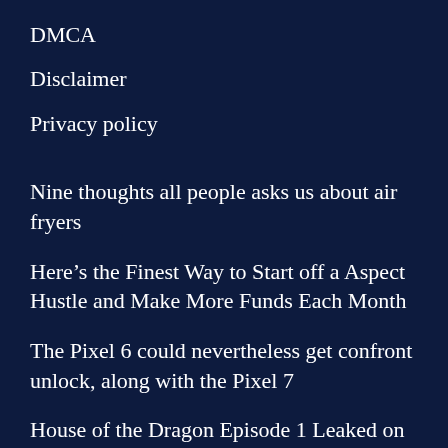DMCA
Disclaimer
Privacy policy
Nine thoughts all people asks us about air fryers
Here’s the Finest Way to Start off a Aspect Hustle and Make More Funds Each Month
The Pixel 6 could nevertheless get confront unlock, along with the Pixel 7
House of the Dragon Episode 1 Leaked on